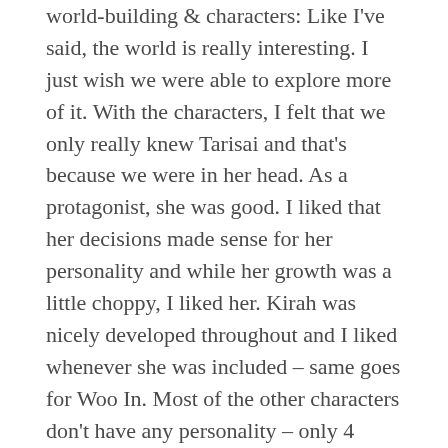world-building & characters: Like I've said, the world is really interesting. I just wish we were able to explore more of it. With the characters, I felt that we only really knew Tarisai and that's because we were in her head. As a protagonist, she was good. I liked that her decisions made sense for her personality and while her growth was a little choppy, I liked her. Kirah was nicely developed throughout and I liked whenever she was included – same goes for Woo In. Most of the other characters don't have any personality – only 4 council members of the 12 (I'm counting the prince) had any personality, and I'm sad to say that Dayo's inclusion in that 4 is slightly pushing it.
Pacing: The beginning felt rushed and as this is a series, I would have loved to have spent far more time during the selection and schooling of the prospective council members. I truly think that would have made the stakes a lot higher, as well as strengthening the world building. I